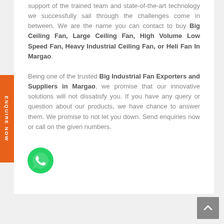support of the trained team and state-of-the-art technology we successfully sail through the challenges come in between. We are the name you can contact to buy Big Ceiling Fan, Large Ceiling Fan, High Volume Low Speed Fan, Heavy Industrial Ceiling Fan, or Heli Fan In Margao. Being one of the trusted Big Industrial Fan Exporters and Suppliers in Margao, we promise that our innovative solutions will not dissatisfy you. If you have any query or question about our products, we have chance to answer them. We promise to not let you down. Send enquiries now or call on the given numbers.
[Figure (illustration): Orange vertical 'ENQUIRE NOW' sidebar button on the left edge]
[Figure (logo): WhatsApp green circle icon with phone handset symbol]
[Figure (other): Gray scroll-to-top button with upward chevron arrow in bottom-right corner]